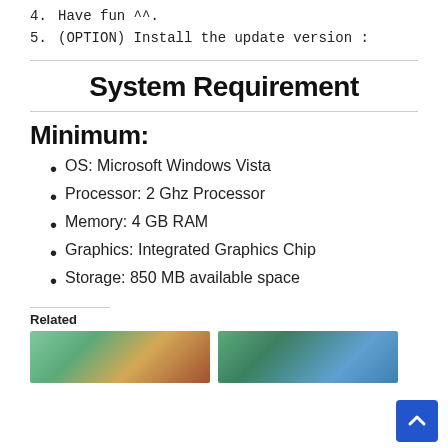4.  Have fun ^^\.
5.  (OPTION) Install the update version :
System Requirement
Minimum:
OS: Microsoft Windows Vista
Processor: 2 Ghz Processor
Memory: 4 GB RAM
Graphics: Integrated Graphics Chip
Storage: 850 MB available space
Related
[Figure (photo): Two game screenshot thumbnails shown in the Related section]